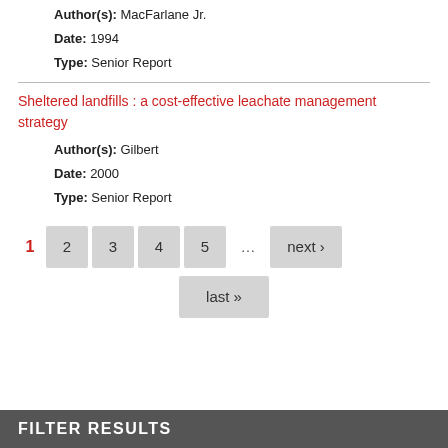Author(s): MacFarlane Jr.
Date: 1994
Type: Senior Report
Sheltered landfills : a cost-effective leachate management strategy
Author(s): Gilbert
Date: 2000
Type: Senior Report
1  2  3  4  5  ...  next ›  last »
FILTER RESULTS